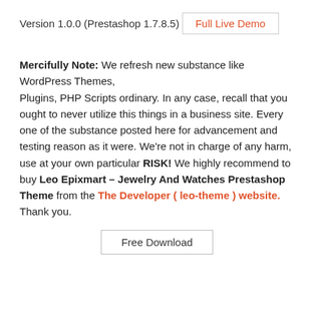Version 1.0.0 (Prestashop 1.7.8.5)
Full Live Demo
Mercifully Note: We refresh new substance like WordPress Themes, Plugins, PHP Scripts ordinary. In any case, recall that you ought to never utilize this things in a business site. Every one of the substance posted here for advancement and testing reason as it were. We’re not in charge of any harm, use at your own particular RISK! We highly recommend to buy Leo Epixmart – Jewelry And Watches Prestashop Theme from the The Developer ( leo-theme ) website. Thank you.
Free Download